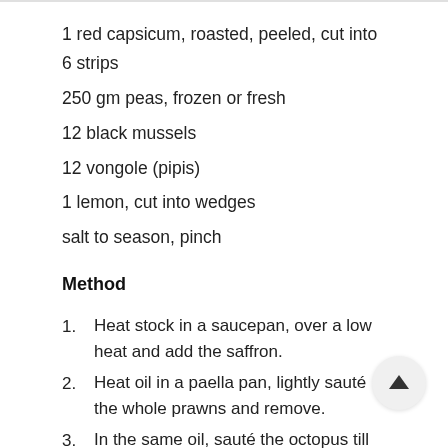1 red capsicum, roasted, peeled, cut into 6 strips
250 gm peas, frozen or fresh
12 black mussels
12 vongole (pipis)
1 lemon, cut into wedges
salt to season, pinch
Method
Heat stock in a saucepan, over a low heat and add the saffron.
Heat oil in a paella pan, lightly sauté the whole prawns and remove.
In the same oil, sauté the octopus till sealed, then remove.
Add extra oil to the pan and stir in